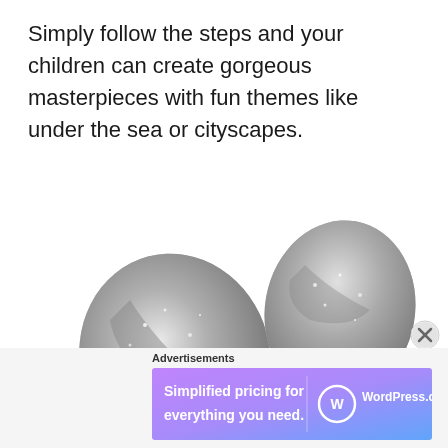Simply follow the steps and your children can create gorgeous masterpieces with fun themes like under the sea or cityscapes.
[Figure (photo): Silver glittery cat ears headband on white background]
[Figure (screenshot): WordPress.com advertisement banner: 'Simplified pricing for everything you need.' with WordPress.com logo on purple/pink gradient background]